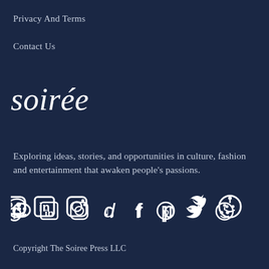Privacy And Terms
Contact Us
soirée
Exploring ideas, stories, and opportunities in culture, fashion and entertainment that awaken people's passions.
[Figure (infographic): Row of 8 social media icons: Discord, LinkedIn, Instagram, TikTok, Facebook, Pinterest, Twitter, Reddit]
Copyright The Soiree Press LLC